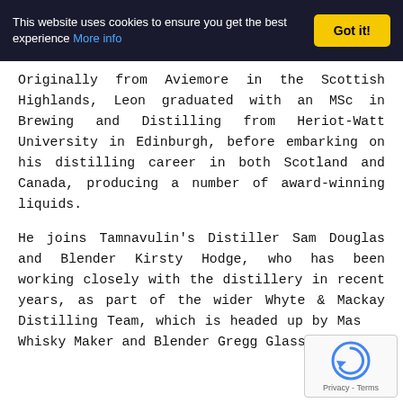This website uses cookies to ensure you get the best experience More info | Got it!
Originally from Aviemore in the Scottish Highlands, Leon graduated with an MSc in Brewing and Distilling from Heriot-Watt University in Edinburgh, before embarking on his distilling career in both Scotland and Canada, producing a number of award-winning liquids.
He joins Tamnavulin's Distiller Sam Douglas and Blender Kirsty Hodge, who has been working closely with the distillery in recent years, as part of the wider Whyte & Mackay Distilling Team, which is headed up by Master Whisky Maker and Blender Gregg Glass.